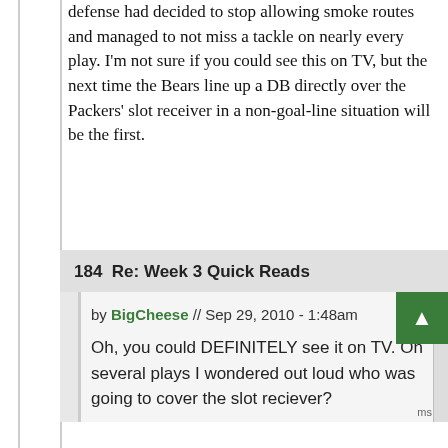defense had decided to stop allowing smoke routes and managed to not miss a tackle on nearly every play. I'm not sure if you could see this on TV, but the next time the Bears line up a DB directly over the Packers' slot receiver in a non-goal-line situation will be the first.
184  Re: Week 3 Quick Reads
by BigCheese // Sep 29, 2010 - 1:48am
Oh, you could DEFINITELY see it on TV. On several plays I wondered out loud who was going to cover the slot reciever?